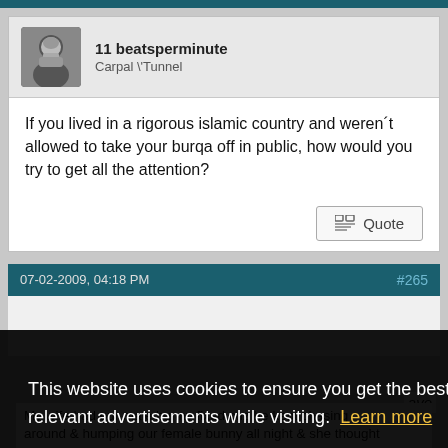11beatsperminute
Carpal \'Tunnel
If you lived in a rigorous islamic country and weren´t allowed to take your burqa off in public, how would you try to get all the attention?
07-02-2009, 04:18 PM
#265
This website uses cookies to ensure you get the best experience and relevant advertisements while visiting.  Learn more
Got it!
ave
My wife had our male bunny fixed cuz he kept chasing around & humping our female bunny all night & she thought